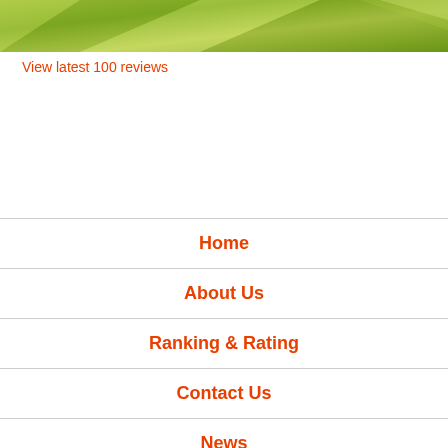[Figure (photo): Aerial or close-up view of a green golf course fairway with diagonal grass patterns in various shades of green]
View latest 100 reviews
Home
About Us
Ranking & Rating
Contact Us
News
Advertising
BiteSize
Gems
Resorts